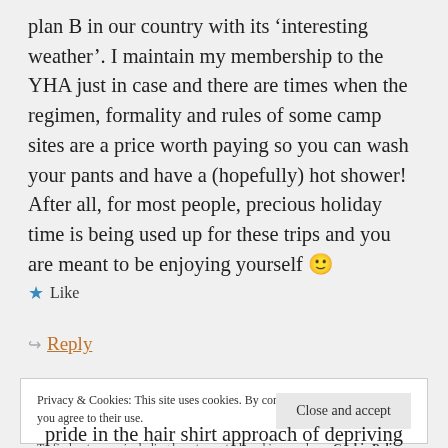plan B in our country with its 'interesting weather'. I maintain my membership to the YHA just in case and there are times when the regimen, formality and rules of some camp sites are a price worth paying so you can wash your pants and have a (hopefully) hot shower! After all, for most people, precious holiday time is being used up for these trips and you are meant to be enjoying yourself 🙂
★ Like
↪ Reply
Privacy & Cookies: This site uses cookies. By continuing to use this website, you agree to their use.
To find out more, including how to control cookies, see here: Cookie Policy
Close and accept
pride in the hair shirt approach of depriving